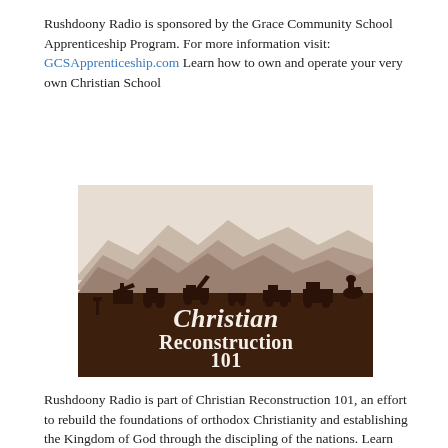Rushdoony Radio is sponsored by the Grace Community School Apprenticeship Program. For more information visit: GCSApprenticeship.com Learn how to own and operate your very own Christian School
[Figure (illustration): Logo image for Christian Reconstruction 101 — dark brown background with silhouettes of construction equipment and mountain landscape at top, and stylized serif text reading 'Christian Reconstruction 101' in white/cream color.]
Rushdoony Radio is part of Christian Reconstruction 101, an effort to rebuild the foundations of orthodox Christianity and establishing the Kingdom of God through the discipling of the nations. Learn more by visiting: ChristianReconstruction101.com